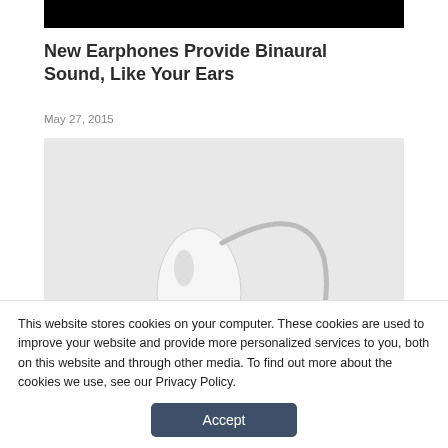[Figure (photo): Top cropped black image bar from a previous article photo]
New Earphones Provide Binaural Sound, Like Your Ears
May 27, 2015
[Figure (photo): A white hearing aid / earphone device with a silver wire hook, photographed on a light gray background]
This website stores cookies on your computer. These cookies are used to improve your website and provide more personalized services to you, both on this website and through other media. To find out more about the cookies we use, see our Privacy Policy.
Accept